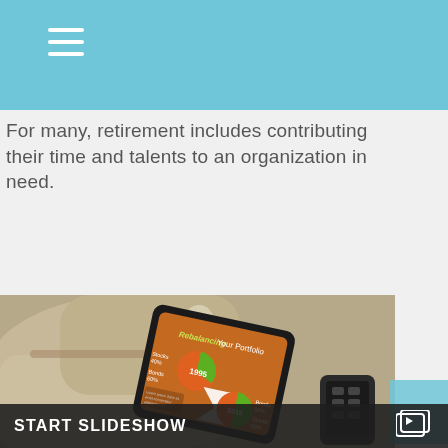For many, retirement includes contributing their time and talents to an organization in need.
[Figure (photo): A tablet device displaying a 'Rebalancing Your Portfolio' infographic with pie charts for 1995 (Stocks 40%, Bonds 60%) and 2015 (Bonds 50%, Stocks 50%), resting on a backpack.]
START SLIDESHOW